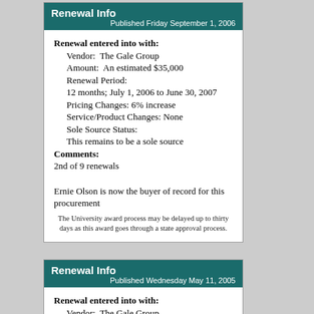Renewal Info
Published Friday September 1, 2006
Renewal entered into with:
Vendor: The Gale Group
Amount: An estimated $35,000
Renewal Period:
12 months; July 1, 2006 to June 30, 2007
Pricing Changes: 6% increase
Service/Product Changes: None
Sole Source Status:
This remains to be a sole source
Comments:
2nd of 9 renewals

Ernie Olson is now the buyer of record for this procurement
The University award process may be delayed up to thirty days as this award goes through a state approval process.
Renewal Info
Published Wednesday May 11, 2005
Renewal entered into with:
Vendor: The Gale Group
Amount: An amount depending on